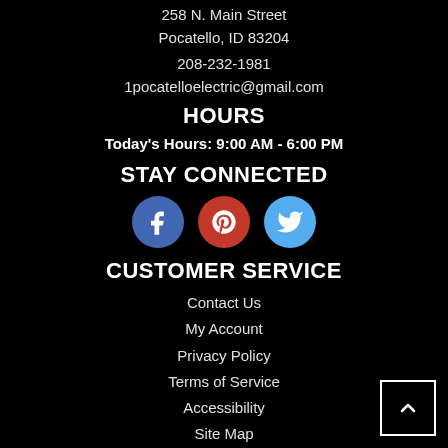258 N. Main Street
Pocatello, ID 83204
208-232-1981
1pocatelloelectric@gmail.com
HOURS
Today's Hours: 9:00 AM - 6:00 PM
STAY CONNECTED
[Figure (infographic): Three social media icon circles: Facebook (blue), Pinterest (red), Twitter (light blue)]
CUSTOMER SERVICE
Contact Us
My Account
Privacy Policy
Terms of Service
Accessibility
Site Map
Do Not Sell My Personal Information